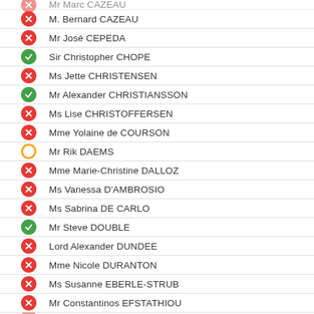Mr Marc CAZEAU (partial, cut off at top)
M. Bernard CAZEAU
Mr José CEPEDA
Sir Christopher CHOPE
Ms Jette CHRISTENSEN
Mr Alexander CHRISTIANSSON
Ms Lise CHRISTOFFERSEN
Mme Yolaine de COURSON
Mr Rik DAEMS
Mme Marie-Christine DALLOZ
Ms Vanessa D'AMBROSIO
Ms Sabrina DE CARLO
Mr Steve DOUBLE
Lord Alexander DUNDEE
Mme Nicole DURANTON
Ms Susanne EBERLE-STRUB
Mr Constantinos EFSTATHIOU
Mr Fenon Berth EIDE (partial, cut off at bottom)